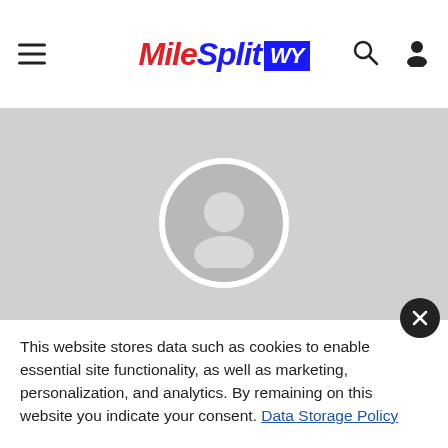MileSplit WY
[Figure (photo): Default user avatar silhouette (person icon) on grey background with white circle border]
Presley Nacey
This website stores data such as cookies to enable essential site functionality, as well as marketing, personalization, and analytics. By remaining on this website you indicate your consent. Data Storage Policy